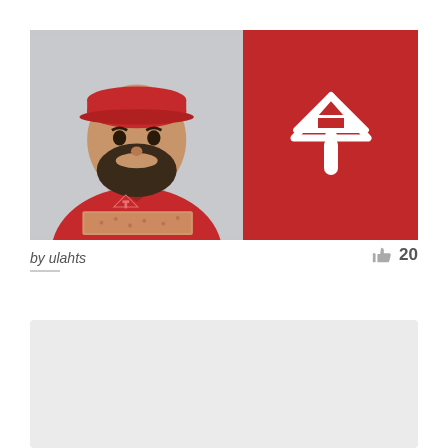[Figure (photo): Split image: left half shows a bearded man in a red polo shirt with a pizza delivery logo holding a pizza box, against a light gray background; right half is a solid dark red panel with a white stylized pizza-slice/P logo mark centered on it.]
by ulahts
20
[Figure (other): Partially visible card below, showing a light gray rectangle placeholder.]